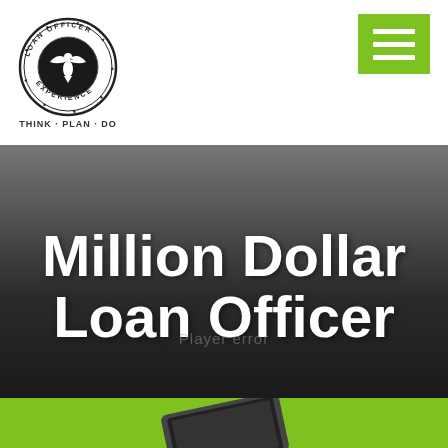[Figure (logo): Loan Officer Experience circular logo with eagle/crest emblem and tagline THINK - PLAN - DO]
[Figure (other): Green hamburger/menu button with three white horizontal lines]
Million Dollar Loan Officer
[Figure (photo): Partial view of a tablet device on green background at bottom of page]